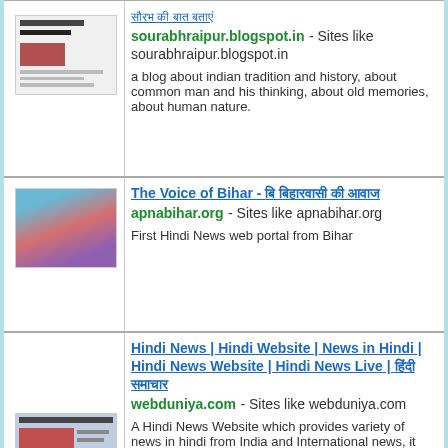[Figure (screenshot): Thumbnail screenshot of sourabhraipur.blogspot.in blog page]
सौरभ की बात बताएं
sourabhraipur.blogspot.in - Sites like sourabhraipur.blogspot.in
a blog about indian tradition and history, about common man and his thinking, about old memories, about human nature.
[Figure (screenshot): Thumbnail screenshot of apnabihar.org website]
The Voice of Bihar - बि बिहारवासी की आवाज
apnabihar.org - Sites like apnabihar.org
First Hindi News web portal from Bihar
[Figure (screenshot): Thumbnail screenshot of webduniya.com website]
Hindi News | Hindi Website | News in Hindi | Hindi News Website | Hindi News Live | हिंदी समाचार
webduniya.com - Sites like webduniya.com
A Hindi News Website which provides variety of news in hindi from India and International news, it has top stories on